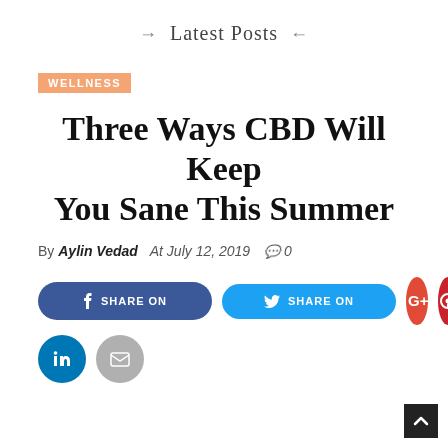→ Latest Posts ←
WELLNESS
Three Ways CBD Will Keep You Sane This Summer
By Aylin Vedad   At July 12, 2019   💬 0
[Figure (infographic): Social share buttons: Facebook SHARE ON, Twitter SHARE ON, Google+, Pinterest, WhatsApp, LinkedIn, Email]